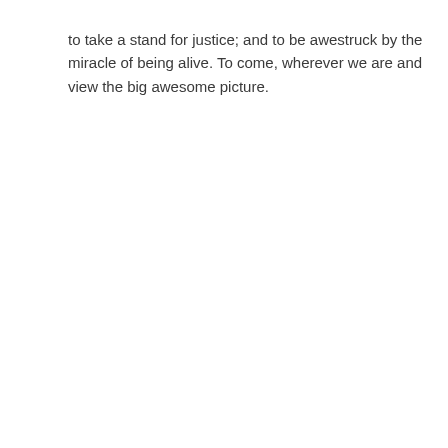to take a stand for justice; and to be awestruck by the miracle of being alive. To come, wherever we are and view the big awesome picture.